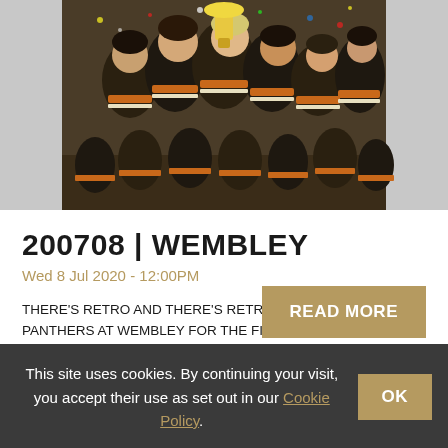[Figure (photo): Group photo of hockey players in dark jerseys with orange/gold accents celebrating, crowded together, possibly at an ice rink, confetti or similar in the air]
200708 | WEMBLEY
Wed 8 Jul 2020 - 12:00PM
THERE’S RETRO AND THERE’S RETRO ... PANTHERS AT WEMBLEY FOR THE FIRST TIME – 1989
READ MORE
This site uses cookies. By continuing your visit, you accept their use as set out in our Cookie Policy. OK